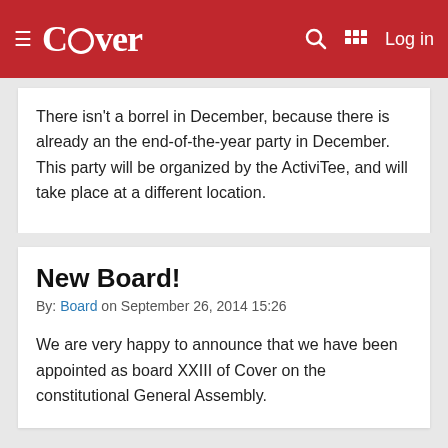Cover — Log in
There isn't a borrel in December, because there is already an the end-of-the-year party in December. This party will be organized by the ActiviTee, and will take place at a different location.
New Board!
By: Board on September 26, 2014 15:26
We are very happy to announce that we have been appointed as board XXIII of Cover on the constitutional General Assembly.